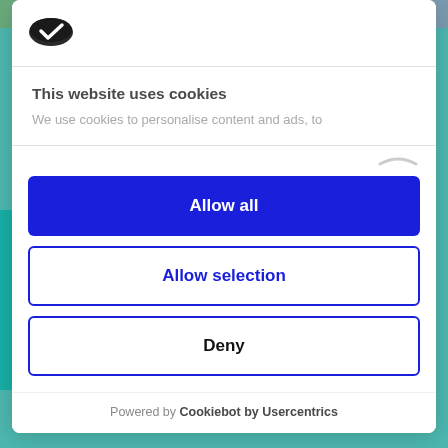[Figure (photo): Top banner photo strip showing outdoor scene with greenery and people]
[Figure (logo): Cookiebot logo - oval dark shape with white checkmark]
This website uses cookies
We use cookies to personalise content and ads, to
Allow all
Allow selection
Deny
Powered by Cookiebot by Usercentrics